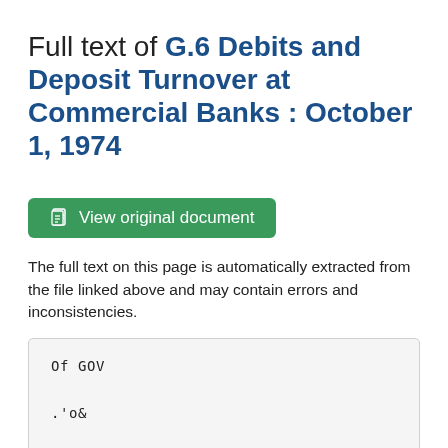Full text of G.6 Debits and Deposit Turnover at Commercial Banks : October 1, 1974
[Figure (other): Green button labeled 'View original document' with a document icon]
The full text on this page is automatically extracted from the file linked above and may contain errors and inconsistencies.
Of GOV

.'o&

F E D E R A L